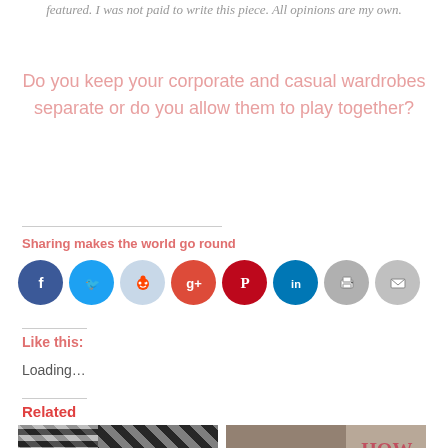featured. I was not paid to write this piece. All opinions are my own.
Do you keep your corporate and casual wardrobes separate or do you allow them to play together?
Sharing makes the world go round
[Figure (infographic): Row of social media sharing icon buttons: Facebook (dark blue), Twitter (blue), Reddit (light blue), Google+ (red-orange), Pinterest (dark red), LinkedIn (dark blue), Print (gray), Email (gray)]
Like this:
Loading...
Related
[Figure (photo): Fashion blog image showing a woman in a striped dress with the quote: Style is a way to say who you are without having to speak]
[Figure (photo): Fashion blog image with text: HOW TO WEAR]